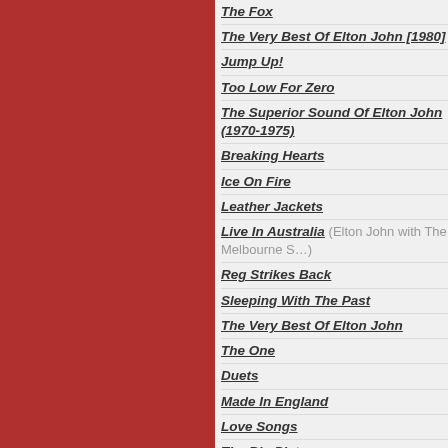The Fox
The Very Best Of Elton John [1980]
Jump Up!
Too Low For Zero
The Superior Sound Of Elton John (1970-1975)
Breaking Hearts
Ice On Fire
Leather Jackets
Live In Australia (Elton John with The Melbourne S…)
Reg Strikes Back
Sleeping With The Past
The Very Best Of Elton John
The One
Duets
Made In England
Love Songs
The Big Picture
One Night Only - The Greatest Hits
Songs From The West Coast
Greatest Hits 1970-2002
Peachtree Road
Rocket Man - The Definitive Hits
The Union (Elton John / Leon Russell)
The Diving Board